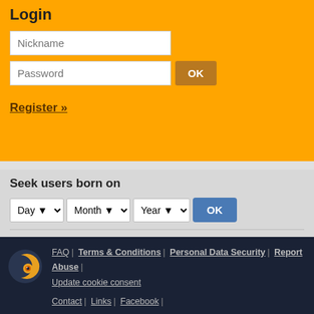Login
Nickname
Password
Register »
Seek users born on
Day | Month | Year | OK
Seek users by nickname
... OK
Seek users by astro signs
Advanced astro search
FAQ | Terms & Conditions | Personal Data Security | Report Abuse | Update cookie consent | Contact | Links | Facebook |